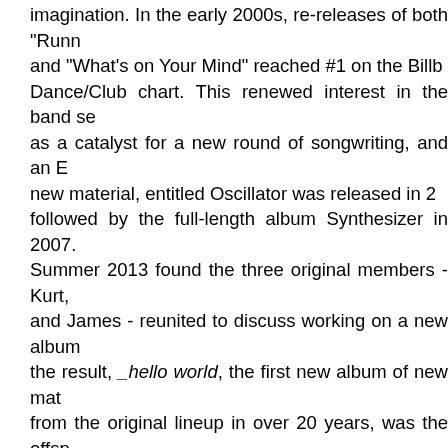imagination. In the early 2000s, re-releases of both "Runn and "What's on Your Mind" reached #1 on the Billb Dance/Club chart. This renewed interest in the band se as a catalyst for a new round of songwriting, and an E new material, entitled Oscillator was released in 2 followed by the full-length album Synthesizer in 2007. Summer 2013 found the three original members - Kurt, and James - reunited to discuss working on a new album the result, _hello world, the first new album of new mat from the original lineup in over 20 years, was the offs The success of _hello world inspired another roun recording, this time each member explored their influ and inspirations and pooled their ideas to form the nucle a "covers album". Orders Of Magnitude is the output and the varied tra puts an easily identifiable InSoc spin on synthpop classics Heaven 17's "(We Don't Need This) Fascist Groove Th and The Human League's "Don't You Want Me". They d into the roots of "alternative" with their take on Fad Gad